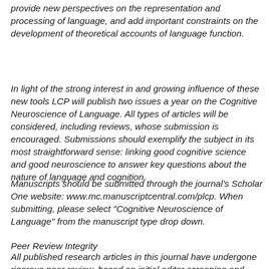provide new perspectives on the representation and processing of language, and add important constraints on the development of theoretical accounts of language function.
In light of the strong interest in and growing influence of these new tools LCP will publish two issues a year on the Cognitive Neuroscience of Language. All types of articles will be considered, including reviews, whose submission is encouraged. Submissions should exemplify the subject in its most straightforward sense: linking good cognitive science and good neuroscience to answer key questions about the nature of language and cognition.
Manuscripts should be submitted through the journal's Scholar One website: www.mc.manuscriptcentral.com/plcp. When submitting, please select "Cognitive Neuroscience of Language" from the manuscript type drop down.
Peer Review Integrity
All published research articles in this journal have undergone rigorous peer review, based on initial editor screening and